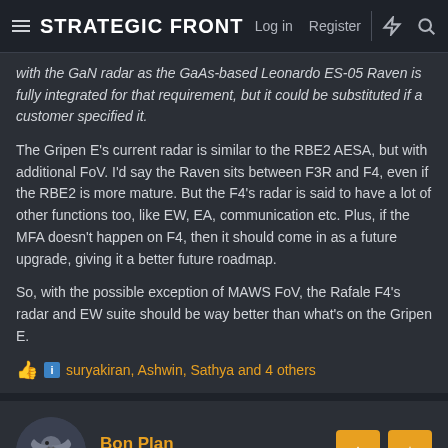STRATEGIC FRONT
with the GaN radar as the GaAs-based Leonardo ES-05 Raven is fully integrated for that requirement, but it could be substituted if a customer specified it.
The Gripen E's current radar is similar to the RBE2 AESA, but with additional FoV. I'd say the Raven sits between F3R and F4, even if the RBE2 is more mature. But the F4's radar is said to have a lot of other functions too, like EW, EA, communication etc. Plus, if the MFA doesn't happen on F4, then it should come in as a future upgrade, giving it a better future roadmap.
So, with the possible exception of MAWS FoV, the Rafale F4's radar and EW suite should be way better than what's on the Gripen E.
👍 ℹ suryakiran, Ashwin, Sathya and 4 others
Bon Plan
Senior member